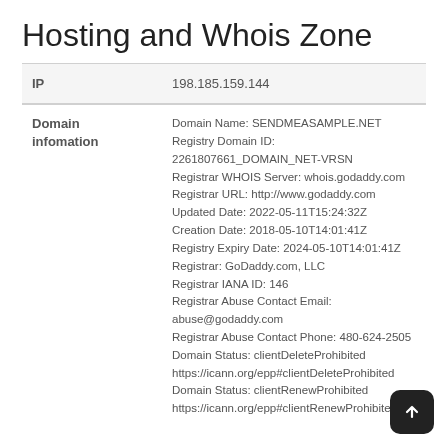Hosting and Whois Zone
| IP |  |
| --- | --- |
| IP | 198.185.159.144 |
| Domain infomation |  |
| --- | --- |
| Domain infomation | Domain Name: SENDMEASAMPLE.NET
Registry Domain ID: 2261807661_DOMAIN_NET-VRSN
Registrar WHOIS Server: whois.godaddy.com
Registrar URL: http://www.godaddy.com
Updated Date: 2022-05-11T15:24:32Z
Creation Date: 2018-05-10T14:01:41Z
Registry Expiry Date: 2024-05-10T14:01:41Z
Registrar: GoDaddy.com, LLC
Registrar IANA ID: 146
Registrar Abuse Contact Email: abuse@godaddy.com
Registrar Abuse Contact Phone: 480-624-2505
Domain Status: clientDeleteProhibited
https://icann.org/epp#clientDeleteProhibited
Domain Status: clientRenewProhibited
https://icann.org/epp#clientRenewProhibited |